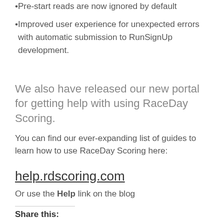Pre-start reads are now ignored by default
Improved user experience for unexpected errors with automatic submission to RunSignUp development.
We also have released our new portal for getting help with using RaceDay Scoring.
You can find our ever-expanding list of guides to learn how to use RaceDay Scoring here:
help.rdscoring.com
Or use the Help link on the blog
Share this: